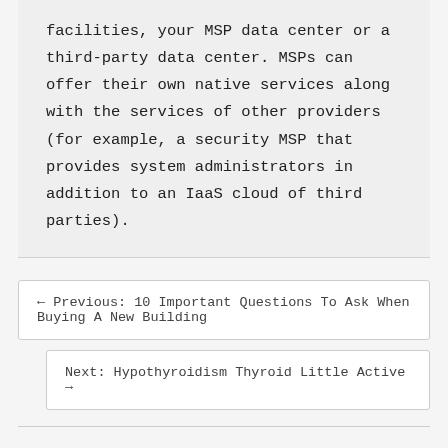facilities, your MSP data center or a third-party data center. MSPs can offer their own native services along with the services of other providers (for example, a security MSP that provides system administrators in addition to an IaaS cloud of third parties).
← Previous: 10 Important Questions To Ask When Buying A New Building
Next: Hypothyroidism Thyroid Little Active →